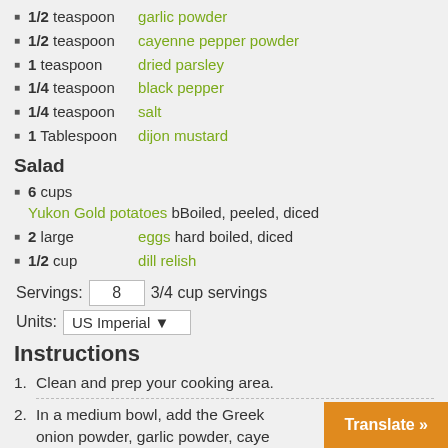1/2 teaspoon garlic powder
1/2 teaspoon cayenne pepper powder
1 teaspoon dried parsley
1/4 teaspoon black pepper
1/4 teaspoon salt
1 Tablespoon dijon mustard
Salad
6 cups Yukon Gold potatoes bBoiled, peeled, diced
2 large eggs hard boiled, diced
1/2 cup dill relish
Servings: 8 3/4 cup servings
Units: US Imperial
Instructions
1. Clean and prep your cooking area.
2. In a medium bowl, add the Greek onion powder, garlic powder, caye